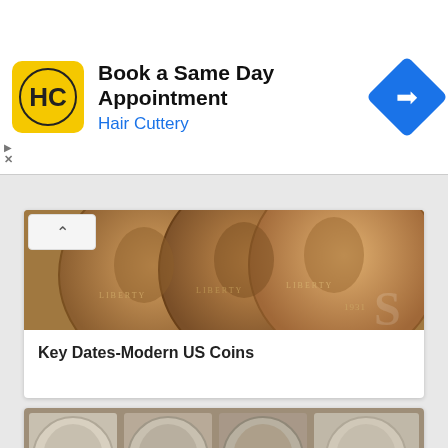[Figure (other): Hair Cuttery advertisement banner with logo, 'Book a Same Day Appointment' text, and navigation arrow icon]
[Figure (photo): Three Lincoln wheat pennies showing obverse profiles with LIBERTY text visible, 1931 date on rightmost coin]
Key Dates-Modern US Coins
[Figure (photo): Four coin images: Morgan Silver Dollar, Peace Dollar, Seated Liberty Dollar, Eisenhower Dollar with captions and text descriptions below each]